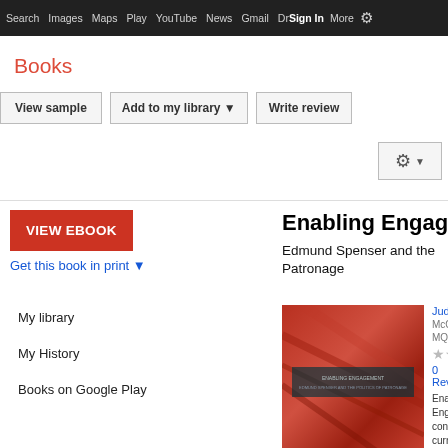Search  Images  Maps  Play  YouTube  News  Gmail  Drive  More  Sign In
Books
View sample  |  Add to my library  |  Write review
VIEW EBOOK
Get this book in print ▼
My library
My History
Books on Google Play
Enabling Engag...
Edmund Spenser and the... Patronage
[Figure (photo): Book cover of Enabling Engagement - Edmund Spenser and the Patronage, red-toned abstract cover]
Judith...
McGi...
MQU...
★★★
0 Rev...
Enab... Enga... contr... curre...
More...